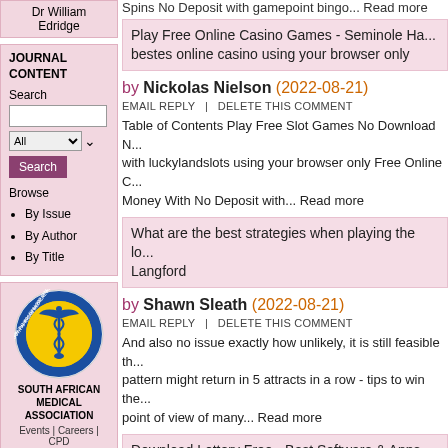Dr William Edridge
JOURNAL CONTENT
Search
By Issue
By Author
By Title
[Figure (logo): South African Medical Association circular logo with caduceus symbol on yellow background]
SOUTH AFRICAN MEDICAL ASSOCIATION
Events | Careers | CPD
Spins No Deposit with gamepoint bingo... Read more
Play Free Online Casino Games - Seminole Ha... bestes online casino using your browser only
by Nickolas Nielson (2022-08-21)
EMAIL REPLY  |  DELETE THIS COMMENT
Table of Contents Play Free Slot Games No Download N... with luckylandslots using your browser only Free Online C... Money With No Deposit with... Read more
What are the best strategies when playing the lo... Langford
by Shawn Sleath (2022-08-21)
EMAIL REPLY  |  DELETE THIS COMMENT
And also no issue exactly how unlikely, it is still feasible th... pattern might return in 5 attracts in a row - tips to win the... point of view of many... Read more
Download Lottery Free - Best Software & Apps -... Edward
by Vania Shillings (2022-08-21)
EMAIL REPLY  |  DELETE THIS COMMENT
All of us like to visualize what we 'd do if we won the Nati... truth of the issue is that you're 5 times most likely to be st... the pot. And, with a solitary... Read more